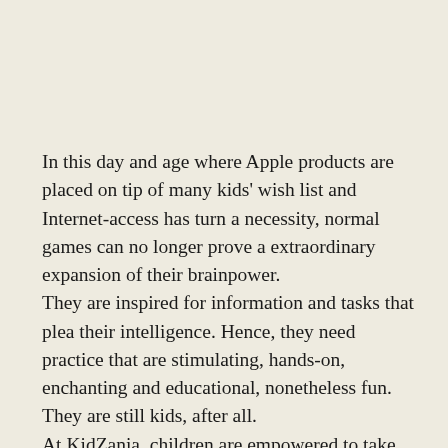In this day and age where Apple products are placed on tip of many kids' wish list and Internet-access has turn a necessity, normal games can no longer prove a extraordinary expansion of their brainpower. They are inspired for information and tasks that plea their intelligence. Hence, they need practice that are stimulating, hands-on, enchanting and educational, nonetheless fun. They are still kids, after all. At KidZania, children are empowered to take assign and make their possess decisions. They are speedy to select or try out whatever that strikes their fancy. It is to remind them that life is about options. In a way, it'll encourage certainty and independence.